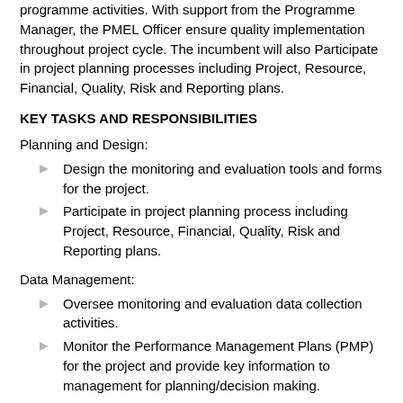programme activities. With support from the Programme Manager, the PMEL Officer ensure quality implementation throughout project cycle. The incumbent will also Participate in project planning processes including Project, Resource, Financial, Quality, Risk and Reporting plans.
KEY TASKS AND RESPONSIBILITIES
Planning and Design:
Design the monitoring and evaluation tools and forms for the project.
Participate in project planning process including Project, Resource, Financial, Quality, Risk and Reporting plans.
Data Management:
Oversee monitoring and evaluation data collection activities.
Monitor the Performance Management Plans (PMP) for the project and provide key information to management for planning/decision making.